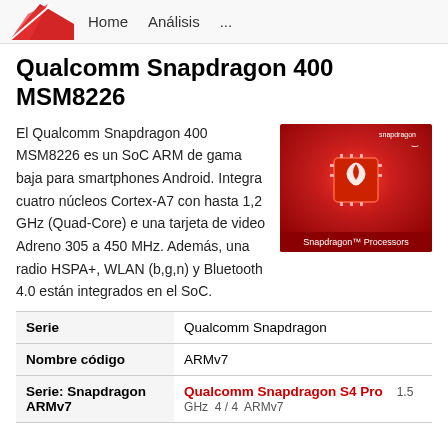Home   Análisis   ...
Qualcomm Snapdragon 400 MSM8226
El Qualcomm Snapdragon 400 MSM8226 es un SoC ARM de gama baja para smartphones Android. Integra cuatro núcleos Cortex-A7 con hasta 1,2 GHz (Quad-Core) e una tarjeta de video Adreno 305 a 450 MHz. Además, una radio HSPA+, WLAN (b,g,n) y Bluetooth 4.0 están integrados en el SoC.
[Figure (photo): Snapdragon Processors promotional image with red background showing a chip]
| Serie | Qualcomm Snapdragon |
| Nombre código | ARMv7 |
| Serie: Snapdragon ARMv7 | Qualcomm Snapdragon S4 Pro   1.5 GHz  4/4  ARMv7 |